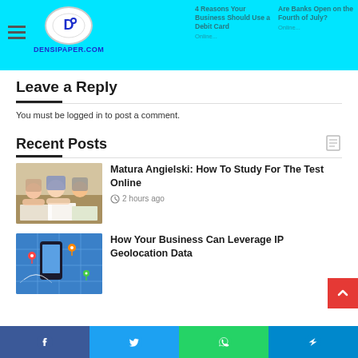4 Reasons Your Business Should Use a Debit Card | Are Banks Open on the Fourth of July?
[Figure (logo): Densipaper.com logo with blue D icon and text DENSIPAPER.COM]
Leave a Reply
You must be logged in to post a comment.
Recent Posts
[Figure (photo): Students studying together at a desk, writing]
Matura Angielski: How To Study For The Test Online
2 hours ago
[Figure (photo): IP Geolocation themed illustration with phone and map pins]
How Your Business Can Leverage IP Geolocation Data
Facebook | Twitter | WhatsApp | Telegram